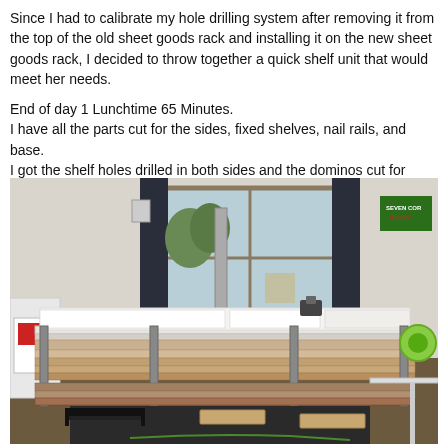Since I had to calibrate my hole drilling system after removing it from the top of the old sheet goods rack and installing it on the new sheet goods rack, I decided to throw together a quick shelf unit that would meet her needs.
End of day 1 Lunchtime 65 Minutes.
I have all the parts cut for the sides, fixed shelves, nail rails, and base.
I got the shelf holes drilled in both sides and the dominos cut for assembly and edge banded all the fixed parts
[Figure (photo): Workshop photo showing a sheet goods rack with multiple large flat panels and boards stacked horizontally. A router or similar tool sits on top of the panels. In the background there is a window with dark curtains, a thermostat on the wall, and a duct pipe. On the right wall is a sign reading 'SEVEN COR'. In the foreground on the floor are clamps and wood pieces on dark matting.]